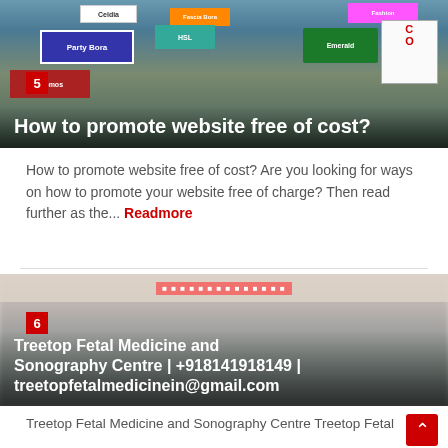[Figure (photo): Street scene with multiple colorful billboard advertisements in an Indian city, viewed from below looking up.]
How to promote website free of cost?
How to promote website free of cost? Are you looking for ways on how to promote your website free of charge? Then read further as the... Readmore
[Figure (photo): Blurred interior photo, possibly a medical or clinical setting, with a blurred text strip at the top.]
Treetop Fetal Medicine and Sonography Centre | +918141918149 | treetopfetalmedicinein@gmail.com
Treetop Fetal Medicine and Sonography Centre Treetop Fetal